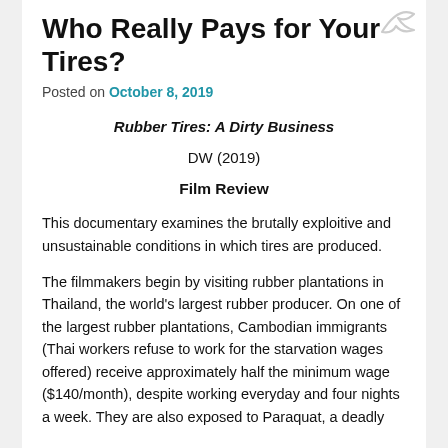Who Really Pays for Your Tires?
Posted on October 8, 2019
Rubber Tires: A Dirty Business
DW (2019)
Film Review
This documentary examines the brutally exploitive and unsustainable conditions in which tires are produced.
The filmmakers begin by visiting rubber plantations in Thailand, the world's largest rubber producer. On one of the largest rubber plantations, Cambodian immigrants (Thai workers refuse to work for the starvation wages offered) receive approximately half the minimum wage ($140/month), despite working everyday and four nights a week. They are also exposed to Paraquat, a deadly